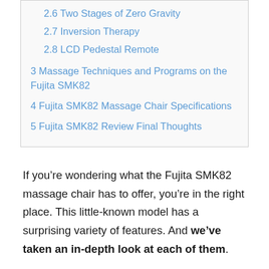2.6 Two Stages of Zero Gravity
2.7 Inversion Therapy
2.8 LCD Pedestal Remote
3 Massage Techniques and Programs on the Fujita SMK82
4 Fujita SMK82 Massage Chair Specifications
5 Fujita SMK82 Review Final Thoughts
If you’re wondering what the Fujita SMK82 massage chair has to offer, you’re in the right place. This little-known model has a surprising variety of features. And we’ve taken an in-depth look at each of them.
Now, we’re sharing all we’ve learned — the